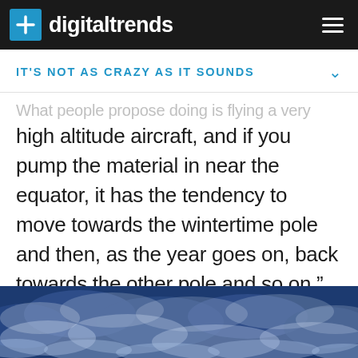digitaltrends
IT'S NOT AS CRAZY AS IT SOUNDS
What people propose doing is flying a very high altitude aircraft, and if you pump the material in near the equator, it has the tendency to move towards the wintertime pole and then, as the year goes on, back towards the other pole and so on."
[Figure (photo): Aerial photograph of clouds from above, tinted blue, showing dense cloud cover over ocean or land.]